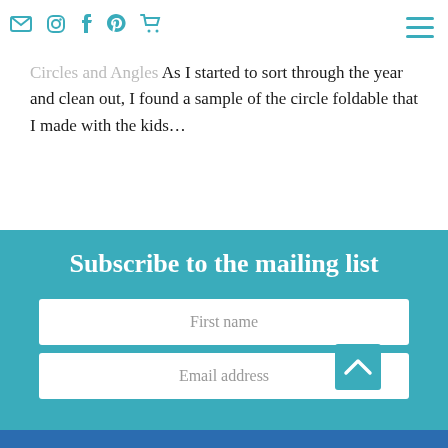Email, Instagram, Facebook, Pinterest, Cart, Menu icons
Circles and Angles As I started to sort through the year and clean out, I found a sample of the circle foldable that I made with the kids…
Subscribe to the mailing list
First name
Email address